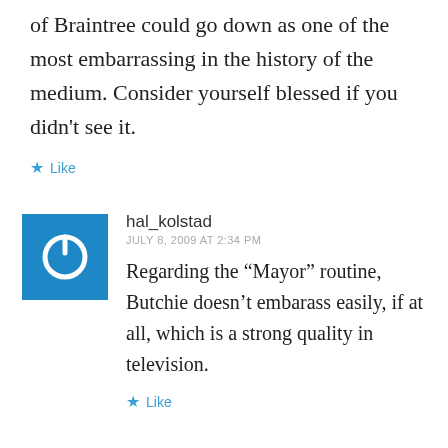of Braintree could go down as one of the most embarrassing in the history of the medium. Consider yourself blessed if you didn't see it.
Like
hal_kolstad
JULY 8, 2009 AT 2:34 PM
Regarding the “Mayor” routine, Butchie doesn’t embarass easily, if at all, which is a strong quality in television.
Like